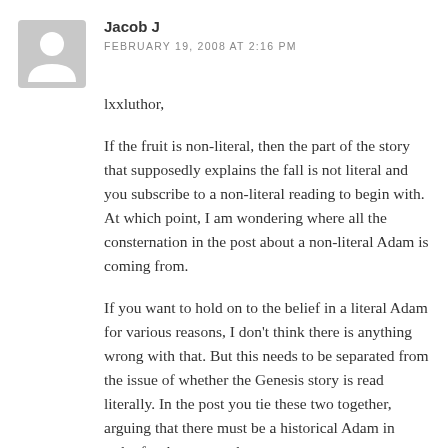[Figure (illustration): Generic user avatar icon: grey rounded square background with a white silhouette of a person (head circle and shoulder arc)]
Jacob J
FEBRUARY 19, 2008 AT 2:16 PM
lxxluthor,
If the fruit is non-literal, then the part of the story that supposedly explains the fall is not literal and you subscribe to a non-literal reading to begin with. At which point, I am wondering where all the consternation in the post about a non-literal Adam is coming from.
If you want to hold on to the belief in a literal Adam for various reasons, I don't think there is anything wrong with that. But this needs to be separated from the issue of whether the Genesis story is read literally. In the post you tie these two together, arguing that there must be a historical Adam in order for the story to have